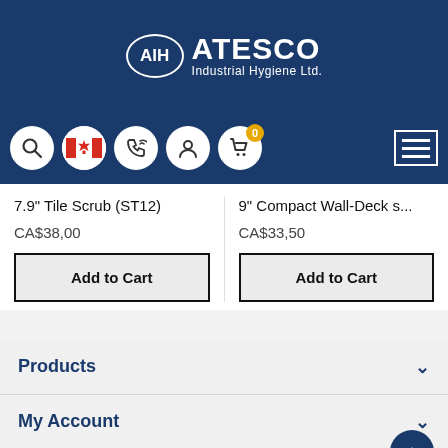[Figure (logo): AIH ATESCO Industrial Hygiene Ltd. logo on dark blue background]
[Figure (screenshot): Navigation icon bar with search, Canada flag, phone, account, cart (0) icons and hamburger menu]
7.9" Tile Scrub (ST12)
CA$38,00
Add to Cart
9" Compact Wall-Deck s...
CA$33,50
Add to Cart
Products
My Account
About Us